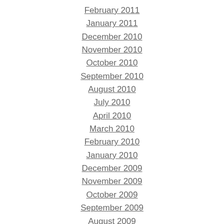February 2011
January 2011
December 2010
November 2010
October 2010
September 2010
August 2010
July 2010
April 2010
March 2010
February 2010
January 2010
December 2009
November 2009
October 2009
September 2009
August 2009
July 2009
June 2009